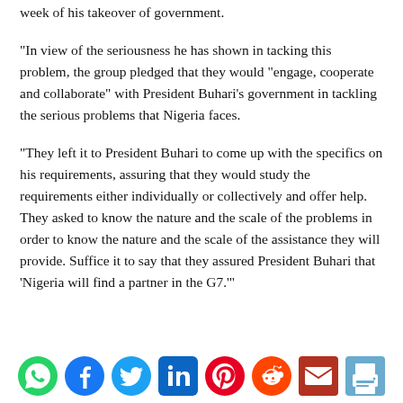week of his takeover of government.
“In view of the seriousness he has shown in tacking this problem, the group pledged that they would “engage, cooperate and collaborate” with President Buhari’s government in tackling the serious problems that Nigeria faces.
“They left it to President Buhari to come up with the specifics on his requirements, assuring that they would study the requirements either individually or collectively and offer help. They asked to know the nature and the scale of the problems in order to know the nature and the scale of the assistance they will provide. Suffice it to say that they assured President Buhari that ‘Nigeria will find a partner in the G7.’”
[Figure (infographic): Social media sharing icons: WhatsApp, Facebook, Twitter, LinkedIn, Pinterest, Reddit, Email, Print]